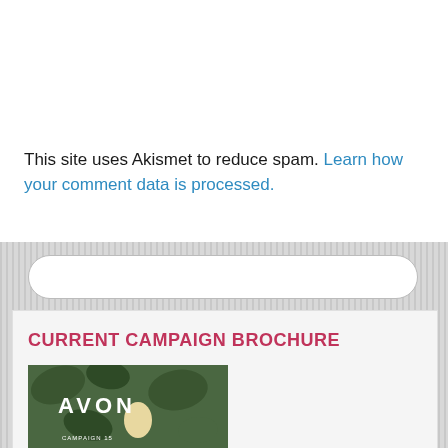This site uses Akismet to reduce spam. Learn how your comment data is processed.
[Figure (screenshot): A rounded search input box with white background]
CURRENT CAMPAIGN BROCHURE
[Figure (photo): Avon Campaign brochure cover with green herbs/plants background and AVON logo in white text]